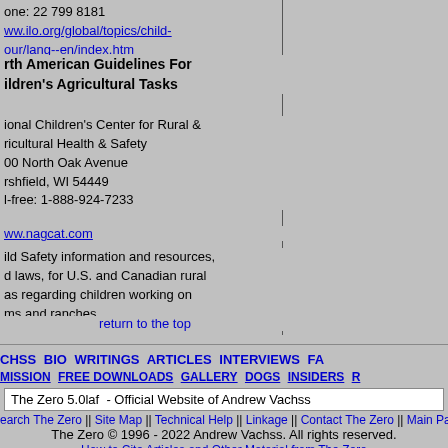one: 22 799 8181
ww.ilo.org/global/topics/child-our/lang--en/index.htm
rth American Guidelines For ildren's Agricultural Tasks
ional Children's Center for Rural & ricultural Health & Safety
00 North Oak Avenue
rshfield, WI 54449
l-free: 1-888-924-7233
ww.nagcat.com
ild Safety information and resources, d laws, for U.S. and Canadian rural as regarding children working on ms and ranches.
return to the top
CHSS   BIO   WRITINGS   ARTICLES   INTERVIEWS   FA MISSION   FREE DOWNLOADS   GALLERY   DOGS   INSIDERS   R
The Zero 5.0laf  - Official Website of Andrew Vachss
earch The Zero || Site Map || Technical Help || Linkage || Contact The Zero || Main Page
The Zero © 1996 - 2022 Andrew Vachss. All rights reserved.
How to Cite Articles and Other Material from The Zero
The URL for this page is: http://vachss.com/help_text/child_labor.html